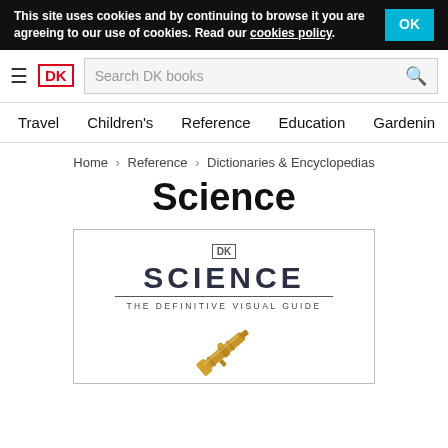This site uses cookies and by continuing to browse it you are agreeing to our use of cookies. Read our cookies policy.
[Figure (logo): DK logo in red border square]
Search DK books
Travel  Children's  Reference  Education  Gardening
Home > Reference > Dictionaries & Encyclopedias
Science
[Figure (illustration): DK Science: The Definitive Visual Guide book cover showing a golden telescope against white background with DK logo at top]